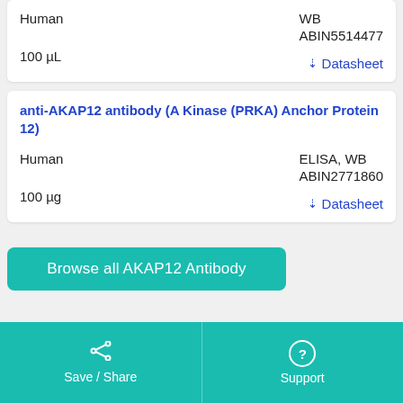| Human | WB |
|  | ABIN5514477 |
| 100 µL | Datasheet |
anti-AKAP12 antibody (A Kinase (PRKA) Anchor Protein 12)
| Human | ELISA, WB |
|  | ABIN2771860 |
| 100 µg | Datasheet |
Browse all AKAP12 Antibody
Save / Share    Support